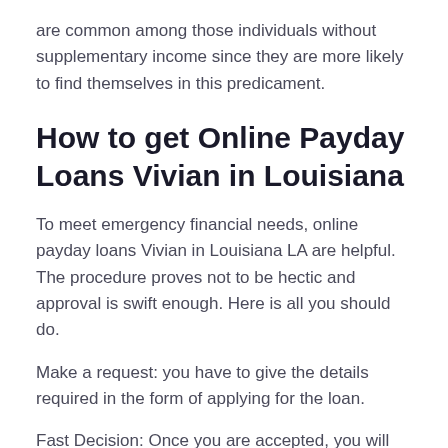are common among those individuals without supplementary income since they are more likely to find themselves in this predicament.
How to get Online Payday Loans Vivian in Louisiana
To meet emergency financial needs, online payday loans Vivian in Louisiana LA are helpful. The procedure proves not to be hectic and approval is swift enough. Here is all you should do.
Make a request: you have to give the details required in the form of applying for the loan.
Fast Decision: Once you are accepted, you will directly be connected to your lender, a process does not take long.